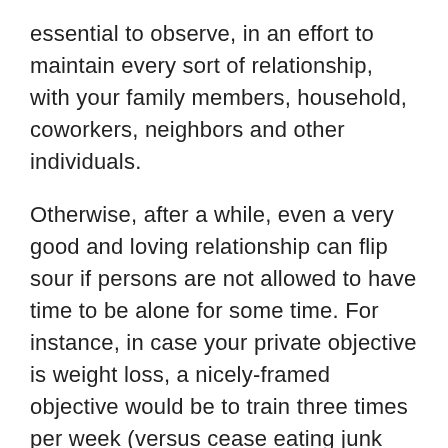essential to observe, in an effort to maintain every sort of relationship, with your family members, household, coworkers, neighbors and other individuals.
Otherwise, after a while, even a very good and loving relationship can flip sour if persons are not allowed to have time to be alone for some time. For instance, in case your private objective is weight loss, a nicely-framed objective would be to train three times per week (versus cease eating junk food, where the objective is in negative terms).